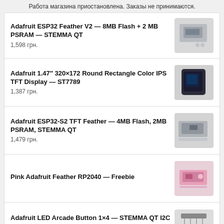Работа магазина приостановлена. Заказы не принимаются.
Adafruit ESP32 Feather V2 — 8MB Flash + 2 MB PSRAM — STEMMA QT
1,598 грн.
Adafruit 1.47″ 320×172 Round Rectangle Color IPS TFT Display — ST7789
1,387 грн.
Adafruit ESP32-S2 TFT Feather — 4MB Flash, 2MB PSRAM, STEMMA QT
1,479 грн.
Pink Adafruit Feather RP2040 — Freebie
Adafruit LED Arcade Button 1×4 — STEMMA QT I2C Breakout — STEMMA QT / Qwiic
598 грн.